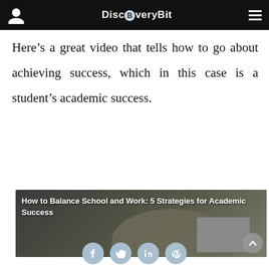DiscBveryBit
Here’s a great video that tells how to go about achieving success, which in this case is a student’s academic success.
[Figure (screenshot): Video thumbnail titled 'How to Balance School and Work: 5 Strategies for Academic Success' showing a person in a classroom setting with a monitor in the background.]